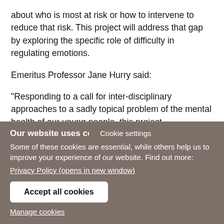about who is most at risk or how to intervene to reduce that risk. This project will address that gap by exploring the specific role of difficulty in regulating emotions.
Emeritus Professor Jane Hurry said:
“Responding to a call for inter-disciplinary approaches to a sadly topical problem of the mental health of our young people, this project [Cookie settings] th a strong
Our website uses cookies
Some of these cookies are essential, while others help us to improve your experience of our website. Find out more:
Privacy Policy (opens in new window)
Accept all cookies
Manage cookies